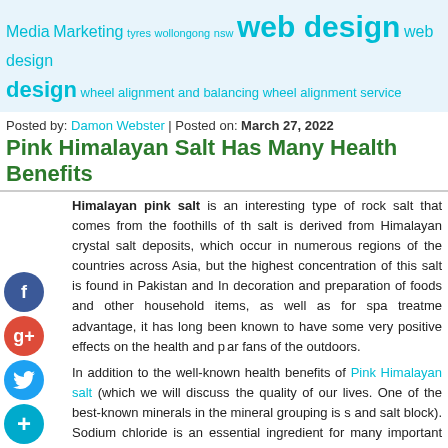Media Marketing tyres wollongong nsw web design web design design wheel alignment and balancing wheel alignment service
Posted by: Damon Webster | Posted on: March 27, 2022
Pink Himalayan Salt Has Many Health Benefits
Himalayan pink salt is an interesting type of rock salt that comes from the foothills of the... salt is derived from Himalayan crystal salt deposits, which occur in numerous regions of the... countries across Asia, but the highest concentration of this salt is found in Pakistan and In... decoration and preparation of foods and other household items, as well as for spa treatme... advantage, it has long been known to have some very positive effects on the health and... popular fans of the outdoors.
In addition to the well-known health benefits of Pink Himalayan salt (which we will discuss... the quality of our lives. One of the best-known minerals in the mineral grouping is s... and salt block). Sodium chloride is an essential ingredient for many important dietary nutr... blood pressure levels within acceptable limits, keeps us hydrated, and aids digestio... irritability, dizziness, insomnia, weakness, and poor memory, just to name a few.
Another set of minerals found in Pink Himalayan salt includes magnesium. Magnesium he... provides positive effects on the nervous system, bones, teeth, heart, and skin, among oth... lower blood pressure, reduce risks for heart attacks and strokes, strengthen bones, and heal...
When you buy your regular grade salt, be sure to purchase it from a reputable supplier...